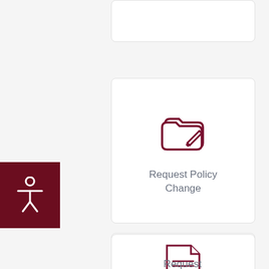[Figure (screenshot): Partial top card, mostly cut off at top of page]
[Figure (illustration): Accessibility button with human figure icon on dark red background on left side]
[Figure (illustration): Card with folder-and-pencil icon for Request Policy Change]
Request Policy Change
[Figure (illustration): Card with document/lines icon for Request (partially visible)]
Request